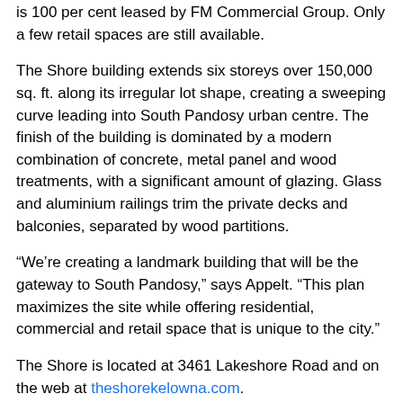is 100 per cent leased by FM Commercial Group. Only a few retail spaces are still available.
The Shore building extends six storeys over 150,000 sq. ft. along its irregular lot shape, creating a sweeping curve leading into South Pandosy urban centre. The finish of the building is dominated by a modern combination of concrete, metal panel and wood treatments, with a significant amount of glazing. Glass and aluminium railings trim the private decks and balconies, separated by wood partitions.
“We’re creating a landmark building that will be the gateway to South Pandosy,” says Appelt. “This plan maximizes the site while offering residential, commercial and retail space that is unique to the city.”
The Shore is located at 3461 Lakeshore Road and on the web at theshorekelowna.com.